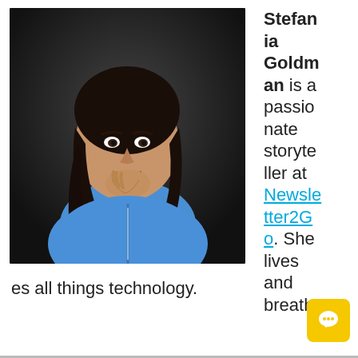[Figure (photo): Headshot of a young woman with long dark hair, wearing a blue top, smiling and resting her chin on her hand, against a dark background.]
Stefania Goldman is a passionate storyteller at Newsletter2Go. She lives and breathes all things technology.